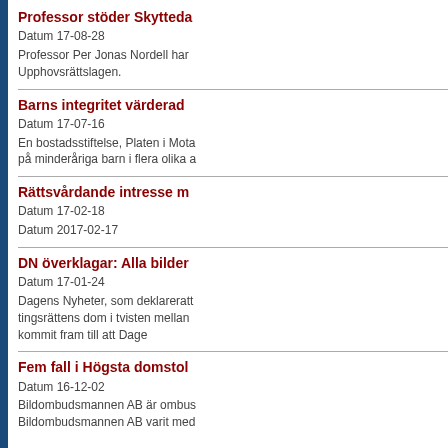Professor stöder Skytteda
Datum 17-08-28
Professor Per Jonas Nordell har
Upphovsrättslagen.
Barns integritet värderad
Datum 17-07-16
En bostadsstiftelse, Platen i Mota
på minderåriga barn i flera olika a
Rättsvårdande intresse m
Datum 17-02-18
Datum 2017-02-17
DN överklagar: Alla bilder
Datum 17-01-24
Dagens Nyheter, som deklareratt
tingsrättens dom i tvisten mellan
kommit fram till att Dage
Fem fall i Högsta domstol
Datum 16-12-02
Bildombudsmannen AB är ombus
Bildombudsmannen AB varit med